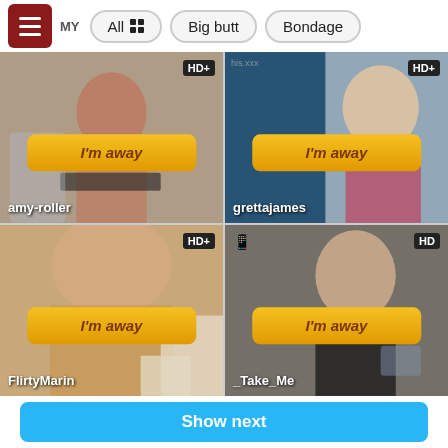All  Big butt  Bondage
[Figure (photo): Webcam grid showing four performer thumbnails: amy-roller (top-left, HD+), grettajames (top-right, HD+), FlirtyMarin (bottom-left, HD+), _Take_Me (bottom-right, HD). Each cell shows an 'I'm away' button.]
Show next